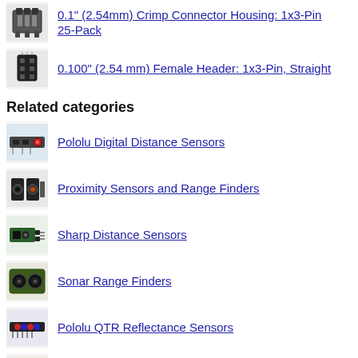0.1" (2.54mm) Crimp Connector Housing: 1x3-Pin 25-Pack
0.100" (2.54 mm) Female Header: 1x3-Pin, Straight
Related categories
Pololu Digital Distance Sensors
Proximity Sensors and Range Finders
Sharp Distance Sensors
Sonar Range Finders
Pololu QTR Reflectance Sensors
Sensors